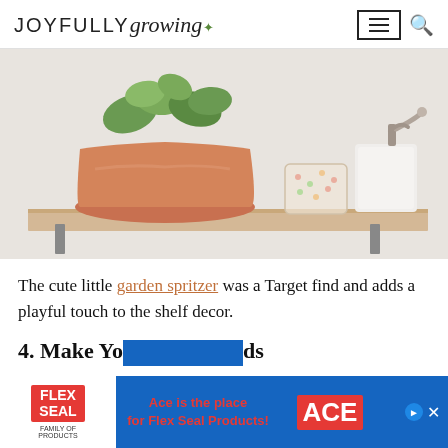JOYFULLY growing
[Figure (photo): A wooden shelf with a terracotta pot containing green plants, a decorative glass jar, and a white metal garden spritzer/dispenser against a light background.]
The cute little garden spritzer was a Target find and adds a playful touch to the shelf decor.
4. Make Your Own Cake Stands
[Figure (other): Advertisement banner: Flex Seal Family of Products - Ace is the place for Flex Seal Products! with ACE Hardware logo.]